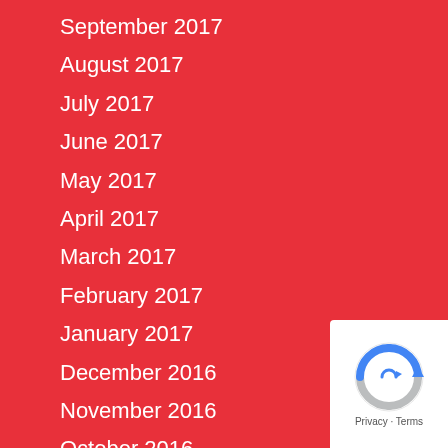September 2017
August 2017
July 2017
June 2017
May 2017
April 2017
March 2017
February 2017
January 2017
December 2016
November 2016
October 2016
September 2016
August 2016
July 2016